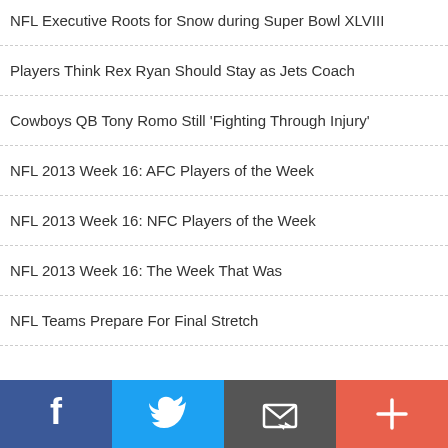NFL Executive Roots for Snow during Super Bowl XLVIII
Players Think Rex Ryan Should Stay as Jets Coach
Cowboys QB Tony Romo Still 'Fighting Through Injury'
NFL 2013 Week 16: AFC Players of the Week
NFL 2013 Week 16: NFC Players of the Week
NFL 2013 Week 16: The Week That Was
NFL Teams Prepare For Final Stretch
Facebook | Twitter | Email | More